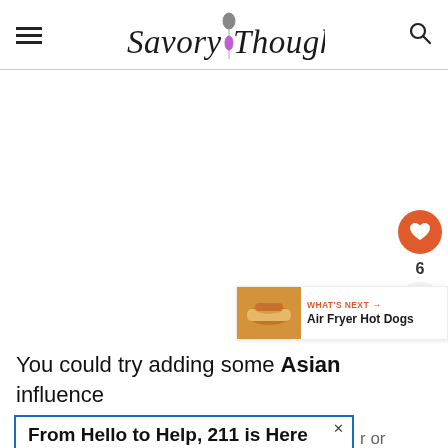Savory Thoughts
[Figure (other): Large white content area with social sharing buttons (heart/like button showing 6, share button) and a 'WHAT'S NEXT' callout for Air Fryer Hot Dogs]
You could try adding some Asian influence
[Figure (other): Advertisement banner: From Hello to Help, 211 is Here — Food]
or